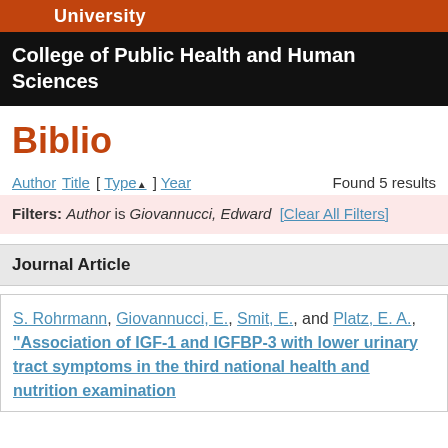University
College of Public Health and Human Sciences
Biblio
Author Title [ Type▲ ] Year   Found 5 results
Filters: Author is Giovannucci, Edward [Clear All Filters]
Journal Article
S. Rohrmann, Giovannucci, E., Smit, E., and Platz, E. A., "Association of IGF-1 and IGFBP-3 with lower urinary tract symptoms in the third national health and nutrition examination